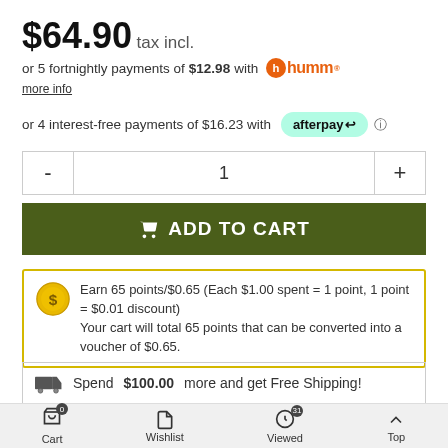$64.90 tax incl.
or 5 fortnightly payments of $12.98 with humm
more info
or 4 interest-free payments of $16.23 with afterpay
[Figure (other): Quantity selector with minus and plus buttons, showing value 1]
[Figure (other): ADD TO CART button in dark green]
Earn 65 points/$0.65 (Each $1.00 spent = 1 point, 1 point = $0.01 discount)
Your cart will total 65 points that can be converted into a voucher of $0.65.
Spend $100.00 more and get Free Shipping!
Cart   Wishlist   Viewed   Top